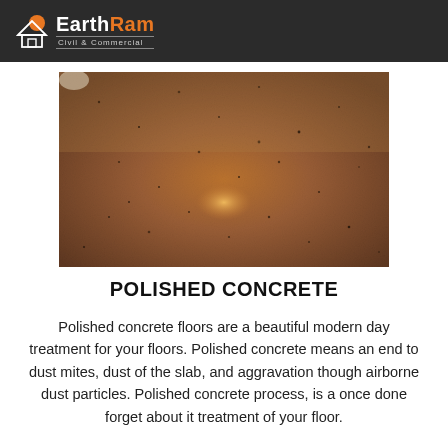EarthRam Civil & Commercial
[Figure (photo): Polished concrete floor showing a smooth, speckled surface with a warm amber light reflection in the center and bright light in the upper left corner.]
POLISHED CONCRETE
Polished concrete floors are a beautiful modern day treatment for your floors. Polished concrete means an end to dust mites, dust of the slab, and aggravation though airborne dust particles. Polished concrete process, is a once done forget about it treatment of your floor.